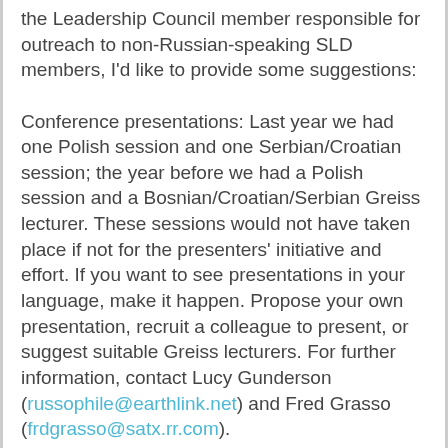the Leadership Council member responsible for outreach to non-Russian-speaking SLD members, I'd like to provide some suggestions:

Conference presentations: Last year we had one Polish session and one Serbian/Croatian session; the year before we had a Polish session and a Bosnian/Croatian/Serbian Greiss lecturer. These sessions would not have taken place if not for the presenters' initiative and effort. If you want to see presentations in your language, make it happen. Propose your own presentation, recruit a colleague to present, or suggest suitable Greiss lecturers. For further information, contact Lucy Gunderson (russophile@earthlink.net) and Fred Grasso (frdgrasso@satx.rr.com).